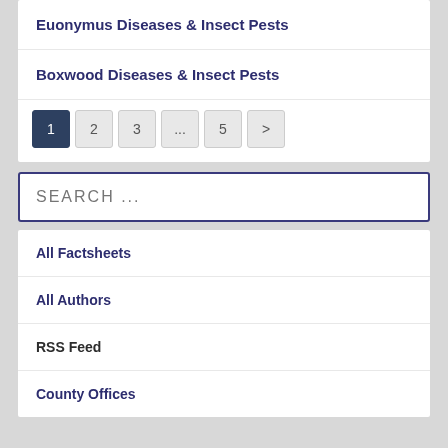Euonymus Diseases & Insect Pests
Boxwood Diseases & Insect Pests
1 2 3 ... 5 >
SEARCH ...
All Factsheets
All Authors
RSS Feed
County Offices